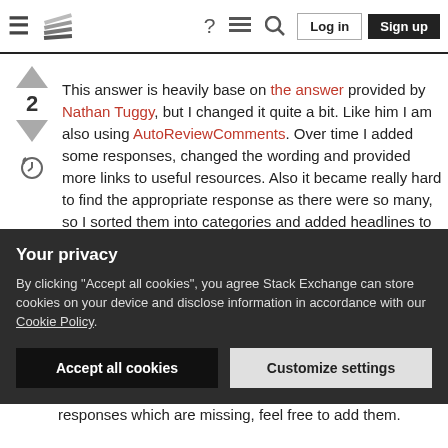Stack Exchange — Log in | Sign up
This answer is heavily base on the answer provided by Nathan Tuggy, but I changed it quite a bit. Like him I am also using AutoReviewComments. Over time I added some responses, changed the wording and provided more links to useful resources. Also it became really hard to find the appropriate response as there were so many, so I sorted them into categories and added headlines to each.

All responses should be short enough to fit into the comment box. Because of the welcome message
Your privacy
By clicking "Accept all cookies", you agree Stack Exchange can store cookies on your device and disclose information in accordance with our Cookie Policy.
responses which are missing, feel free to add them.